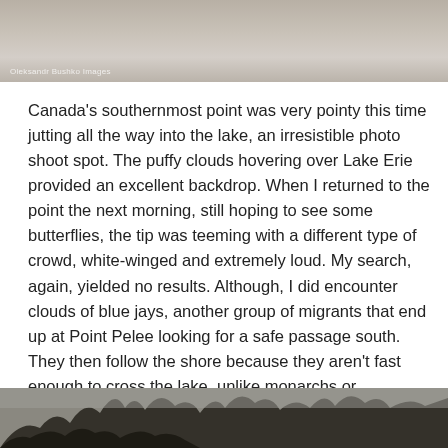[Figure (photo): Partial photo of a lake or outdoor scene with overcast sky, grayish-beige tones, with a watermark reading 'Oleksandr Bushko Images']
Canada's southernmost point was very pointy this time jutting all the way into the lake, an irresistible photo shoot spot. The puffy clouds hovering over Lake Erie provided an excellent backdrop. When I returned to the point the next morning, still hoping to see some butterflies, the tip was teeming with a different type of crowd, white-winged and extremely loud. My search, again, yielded no results. Although, I did encounter clouds of blue jays, another group of migrants that end up at Point Pelee looking for a safe passage south. They then follow the shore because they aren't fast enough to cross the lake, unlike monarchs or hummingbirds.
[Figure (photo): Partial photo at bottom showing tree branches against an overcast sky, dark tones]